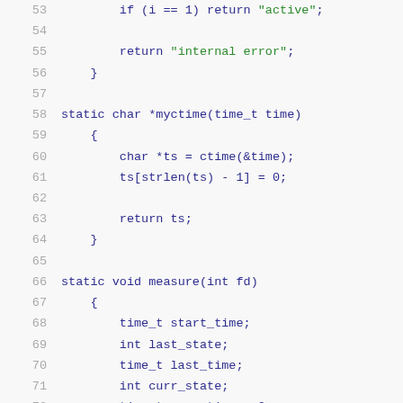[Figure (screenshot): Source code listing in C, lines 53-73, showing functions: state string return, myctime, and beginning of measure function. Syntax highlighted with blue keywords, green strings, gray line numbers.]